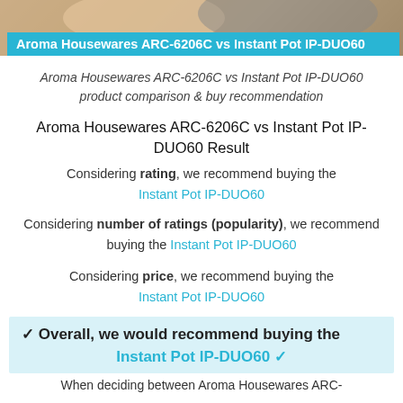[Figure (photo): Product photo strip showing two kitchen appliances side by side]
Aroma Housewares ARC-6206C vs Instant Pot IP-DUO60
Aroma Housewares ARC-6206C vs Instant Pot IP-DUO60 product comparison & buy recommendation
Aroma Housewares ARC-6206C vs Instant Pot IP-DUO60 Result
Considering rating, we recommend buying the Instant Pot IP-DUO60
Considering number of ratings (popularity), we recommend buying the Instant Pot IP-DUO60
Considering price, we recommend buying the Instant Pot IP-DUO60
✓ Overall, we would recommend buying the Instant Pot IP-DUO60 ✓
When deciding between Aroma Housewares ARC-